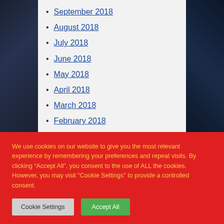September 2018
August 2018
July 2018
June 2018
May 2018
April 2018
March 2018
February 2018
January 2018
December 2017
We use cookies on our website to give you the most relevant experience by remembering your preferences and repeat visits. By clicking “Accept All”, you consent to the use of ALL the cookies. However, you may visit "Cookie Settings" to provide a controlled consent.
Cookie Settings
Accept All